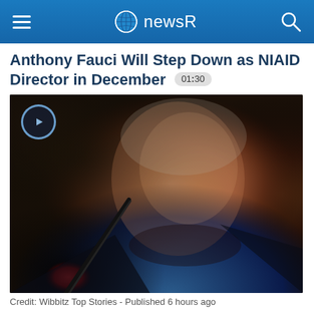newsR
Anthony Fauci Will Step Down as NIAID Director in December 01:30
[Figure (photo): Close-up photograph of Anthony Fauci, an elderly man in a dark suit and blue shirt, with a microphone in front of him. A play button overlay is visible in the top-left corner of the image.]
Credit: Wibbitz Top Stories - Published 6 hours ago